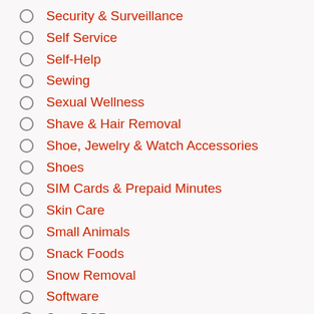Security & Surveillance
Self Service
Self-Help
Sewing
Sexual Wellness
Shave & Hair Removal
Shoe, Jewelry & Watch Accessories
Shoes
SIM Cards & Prepaid Minutes
Skin Care
Small Animals
Snack Foods
Snow Removal
Software
Sony PSP